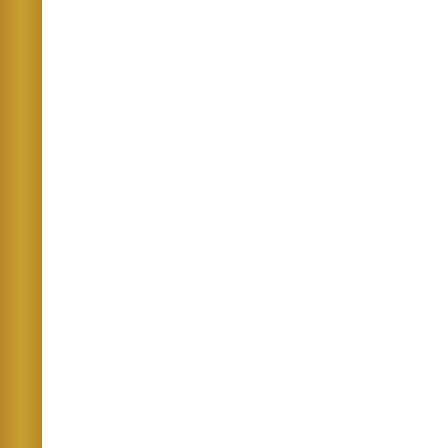[Figure (screenshot): Blog webpage screenshot showing social sharing buttons (Tweet, Save, Share), a paperclip decoration, a calendar icon showing Nov 30 2010, a post title starting with 'Gringo Grand...', author line with 'Polly', tags including beef, canned tomatoes, Stadium Food, Super Bo..., and a broken image placeholder.]